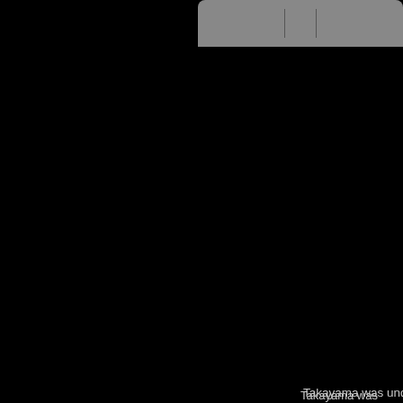[Figure (screenshot): Partial view of a webpage or application with a dark background, showing a grey tab bar at the top right and body text about Takayama pottery history on the right side.]
Takayama was under direct magistraite of the Hida area, a new industry in the area, is located. For this project, painters as Chikuzan, Shu: material used was the high discovered and was excav. Seto, the pottery produced the aftermath of the colaps of local business leaders s decided by Shojiro Goto, T establish a new governme under the name of Houko.